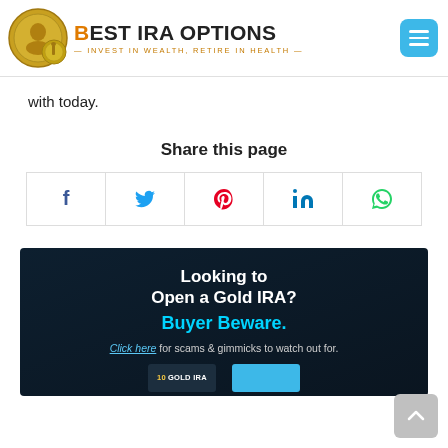BEST IRA OPTIONS — INVEST IN WEALTH, RETIRE IN HEALTH
with today.
Share this page
[Figure (infographic): Social share buttons: Facebook, Twitter, Pinterest, LinkedIn, WhatsApp]
[Figure (infographic): Ad banner: Looking to Open a Gold IRA? Buyer Beware. Click here for scams & gimmicks to watch out for. Shows book covers at bottom.]